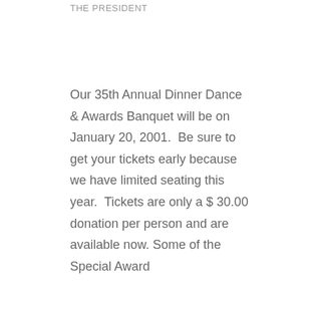THE PRESIDENT
Our 35th Annual Dinner Dance & Awards Banquet will be on January 20, 2001.  Be sure to get your tickets early because we have limited seating this year.  Tickets are only a $ 30.00 donation per person and are available now. Some of the Special Award